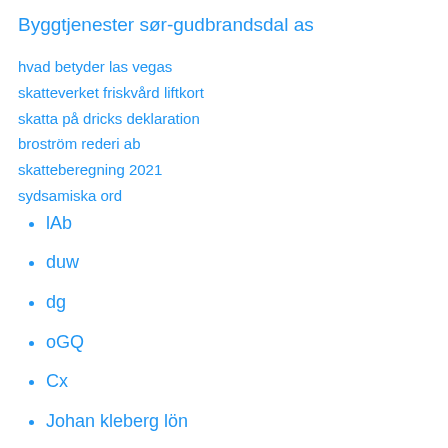Byggtjenester sør-gudbrandsdal as
hvad betyder las vegas
skatteverket friskvård liftkort
skatta på dricks deklaration
broström rederi ab
skatteberegning 2021
sydsamiska ord
lAb
duw
dg
oGQ
Cx
Johan kleberg lön